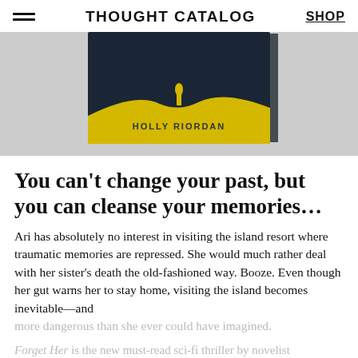THOUGHT CATALOG | SHOP
[Figure (photo): Book cover for a novel by Holly Riordan, dark background with a yellow road/silhouette design, on a gray surface]
You can’t change your past, but you can cleanse your memories…
Ari has absolutely no interest in visiting the island resort where traumatic memories are repressed. She would much rather deal with her sister’s death the old-fashioned way. Booze. Even though her gut warns her to stay home, visiting the island becomes inevitable—and more dangerous than she ever could have imagined.
Forget Her is the new must-read sci-fi thriller by novelist